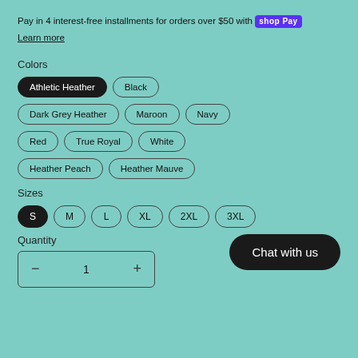Pay in 4 interest-free installments for orders over $50 with Shop Pay
Learn more
Colors
Athletic Heather (selected)
Black
Dark Grey Heather
Maroon
Navy
Red
True Royal
White
Heather Peach
Heather Mauve
Sizes
S (selected)
M
L
XL
2XL
3XL
Quantity
1
Chat with us